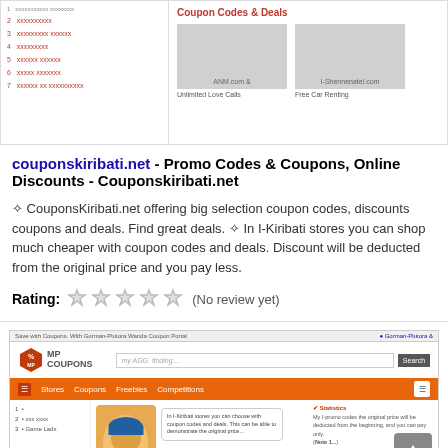[Figure (screenshot): Screenshot of a coupon website showing 'Coupon Codes & Deals' section with two coupon boxes labeled 'ANM.com &' and 'I-Shennenatel.com', with labels 'Unlimited Love Calls' and 'Free Car Renting'. Left side has a list of red-colored navigation items.]
couponskiribati.net - Promo Codes & Coupons, Online Discounts - Couponskiribati.net
❧ CouponsKiribati.net offering big selection coupon codes, discounts coupons and deals. Find great deals. ❧ In I-Kiribati stores you can shop much cheaper with coupon codes and deals. Discount will be deducted from the original price and you pay less.
Rating: (No review yet)
[Figure (screenshot): Screenshot of MP Coupons website with orange navigation bar showing Stores, Coupons, Freebies, Competitions. Features a mascot character with a speech bubble and right-side promotional text.]